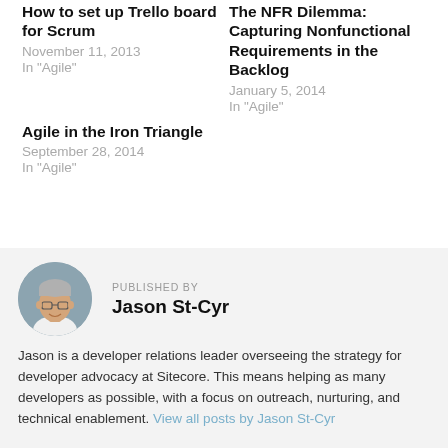How to set up Trello board for Scrum
November 11, 2013
In "Agile"
The NFR Dilemma: Capturing Nonfunctional Requirements in the Backlog
January 5, 2014
In "Agile"
Agile in the Iron Triangle
September 28, 2014
In "Agile"
PUBLISHED BY
Jason St-Cyr
Jason is a developer relations leader overseeing the strategy for developer advocacy at Sitecore. This means helping as many developers as possible, with a focus on outreach, nurturing, and technical enablement. View all posts by Jason St-Cyr